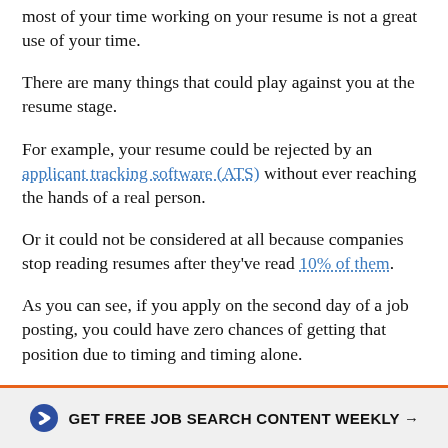most of your time working on your resume is not a great use of your time.
There are many things that could play against you at the resume stage.
For example, your resume could be rejected by an applicant tracking software (ATS) without ever reaching the hands of a real person.
Or it could not be considered at all because companies stop reading resumes after they've read 10% of them.
As you can see, if you apply on the second day of a job posting, you could have zero chances of getting that position due to timing and timing alone.
Additionally, if you spend all your time focusing on your resume, you won't be prepared to wow interviewers in the
GET FREE JOB SEARCH CONTENT WEEKLY →